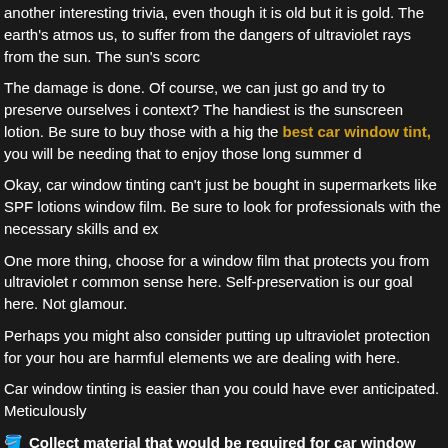another interesting trivia, even though it is old but it is gold. The earth's atmos us, to suffer from the dangers of ultraviolet rays from the sun. The sun's scorc
The damage is done. Of course, we can just go and try to preserve ourselves i context? The handiest is the sunscreen lotion. Be sure to buy those with a hig the best car window tint, you will be needing that to enjoy those long summer d
Okay, car window tinting can't just be bought in supermarkets like SPF lotions window film. Be sure to look for professionals with the necessary skills and ex
One more thing, choose for a window film that protects you from ultraviolet r common sense here. Self-preservation is our goal here. Not glamour.
Perhaps you might also consider putting up ultraviolet protection for your hou are harmful elements we are dealing with here.
Car window tinting is easier than you could have ever anticipated. Meticulously
🪣 Collect material that would be required for car window tinting before you sta
🪣 Use the outside of your car window as a template and cut out sheets of the way to go about it.
🪣 Side windows need to be sprayed with a mixture of water and soap.
🪣 Any residue should be removed by using a razor.